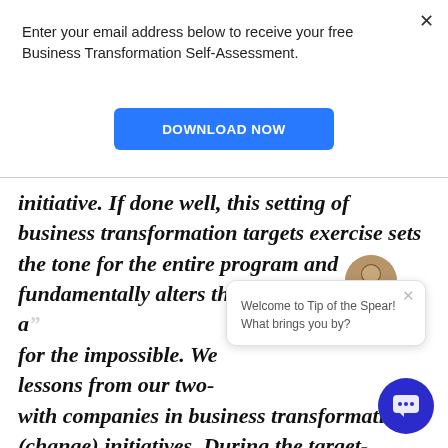Enter your email address below to receive your free Business Transformation Self-Assessment.
[Figure (other): Blue DOWNLOAD NOW button]
initiative. If done well, this setting of business transformation targets exercise sets the tone for the entire program and fundamentally alters the way people think. It a" for the impossible. We lessons from our two- with companies in business transformation (change) initiatives. During the target-settin phase of the transformation, companies shoula
[Figure (other): Chat widget popup with avatar showing 'Welcome to Tip of the Spear! What brings you by?' and a blue chat circle button]